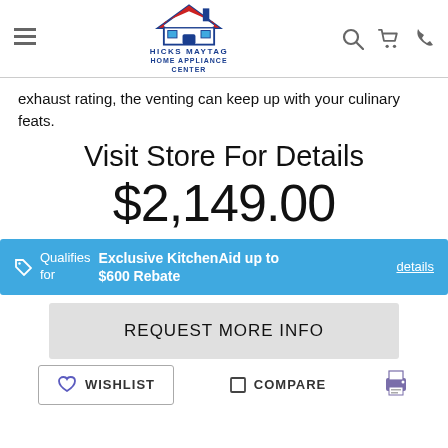Hicks Maytag Home Appliance Center
exhaust rating, the venting can keep up with your culinary feats.
Visit Store For Details
$2,149.00
Qualifies for Exclusive KitchenAid up to $600 Rebate details
REQUEST MORE INFO
WISHLIST   COMPARE